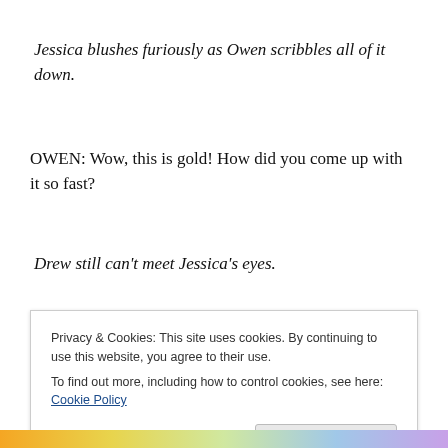Jessica blushes furiously as Owen scribbles all of it down.
OWEN: Wow, this is gold! How did you come up with it so fast?
Drew still can't meet Jessica's eyes.
Privacy & Cookies: This site uses cookies. By continuing to use this website, you agree to their use.
To find out more, including how to control cookies, see here: Cookie Policy
Close and accept